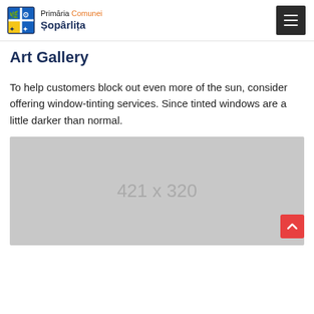Primăria Comunei Șopârlița
Art Gallery
To help customers block out even more of the sun, consider offering window-tinting services. Since tinted windows are a little darker than normal.
[Figure (other): Gray placeholder image 421 x 320]